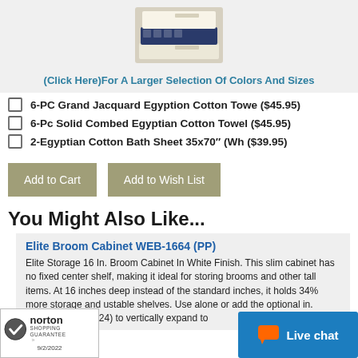[Figure (photo): Product photo of folded towels stacked, in cream, green, and patterned fabric.]
(Click Here)For A Larger Selection Of Colors And Sizes
6-PC Grand Jacquard Egyption Cotton Towe ($45.95)
6-Pc Solid Combed Egyptian Cotton Towel ($45.95)
2-Egyptian Cotton Bath Sheet 35x70" (Wh ($39.95)
Add to Cart  Add to Wish List
You Might Also Like...
Elite Broom Cabinet WEB-1664 (PP)
Elite Storage 16 In. Broom Cabinet In White Finish. This slim cabinet has no fixed center shelf, making it ideal for storing brooms and other tall items. At 16 inches deep instead of the standard inches, it holds 34% more storage and ustable shelves. Use alone or add the optional in. Topper (WEW-1624) to vertically expand to
[Figure (logo): Norton Shopping Guarantee badge with checkmark logo and date 9/2/2022]
Live chat